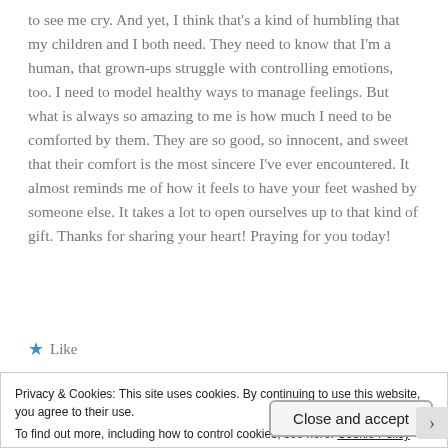to see me cry. And yet, I think that's a kind of humbling that my children and I both need. They need to know that I'm a human, that grown-ups struggle with controlling emotions, too. I need to model healthy ways to manage feelings. But what is always so amazing to me is how much I need to be comforted by them. They are so good, so innocent, and sweet that their comfort is the most sincere I've ever encountered. It almost reminds me of how it feels to have your feet washed by someone else. It takes a lot to open ourselves up to that kind of gift. Thanks for sharing your heart! Praying for you today!
★ Like
Privacy & Cookies: This site uses cookies. By continuing to use this website, you agree to their use. To find out more, including how to control cookies, see here: Cookie Policy
Close and accept